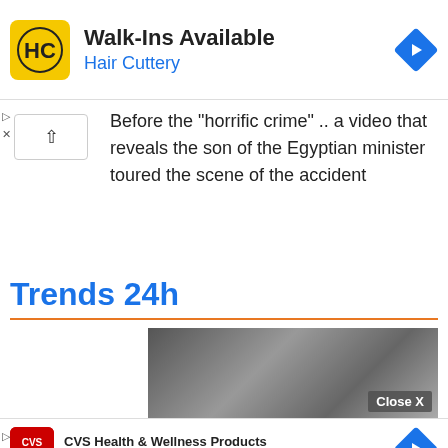[Figure (infographic): Hair Cuttery advertisement banner with yellow HC logo, 'Walk-Ins Available' headline, 'Hair Cuttery' subtitle in blue, and blue navigation diamond icon on right]
Before the “horrific crime” .. a video that reveals the son of the Egyptian minister toured the scene of the accident
Trends 24h
[Figure (photo): Black and white photo of hands, possibly writing or using a device, with a 'Close X' button overlay]
[Figure (infographic): CVS Health & Wellness Products advertisement with CVS Pharmacy logo in red, text 'CVS Health & Wellness Products' and 'CVS Pharmacy' in blue, with navigation diamond icon]